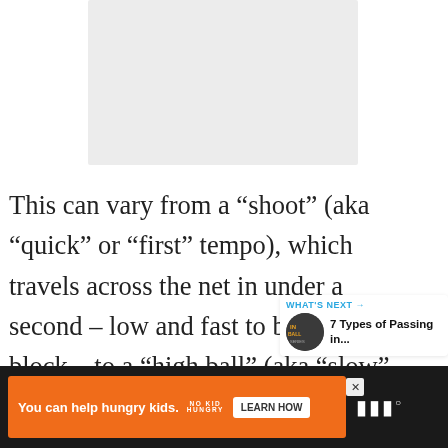[Figure (other): Gray placeholder image at top of page]
This can vary from a “shoot” (aka “quick” or “first” tempo), which travels across the net in under a second – low and fast to beat the block – to a “high ball” (aka “slow” or “third” tempo), which floats lazily to its destination over the course of a couple of seconds.
[Figure (screenshot): Sidebar with heart/like button showing 3 likes and a share button]
[Figure (screenshot): What's Next widget showing circular thumbnail and text '7 Types of Passing in...']
[Figure (screenshot): Advertisement bar: orange background, 'You can help hungry kids.' No Kid Hungry logo and LEARN HOW button]